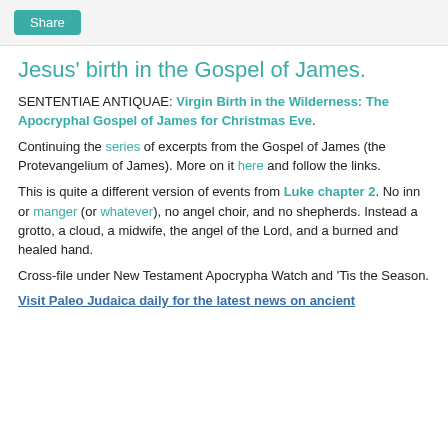Share
Jesus' birth in the Gospel of James.
SENTENTIAE ANTIQUAE: Virgin Birth in the Wilderness: The Apocryphal Gospel of James for Christmas Eve.
Continuing the series of excerpts from the Gospel of James (the Protevangelium of James). More on it here and follow the links.
This is quite a different version of events from Luke chapter 2. No inn or manger (or whatever), no angel choir, and no shepherds. Instead a grotto, a cloud, a midwife, the angel of the Lord, and a burned and healed hand.
Cross-file under New Testament Apocrypha Watch and 'Tis the Season.
Visit Paleo Judaica daily for the latest news on ancient...